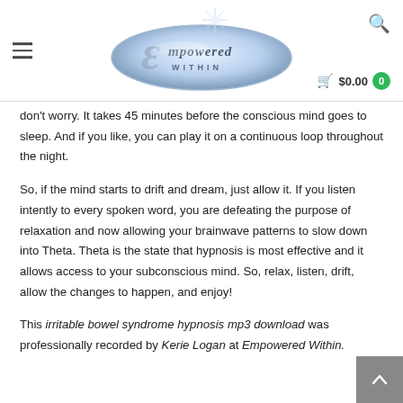[Figure (logo): Empowered Within logo — silver oval with stylized E and 'Empowered Within' text, with a starburst graphic]
don't worry. It takes 45 minutes before the conscious mind goes to sleep. And if you like, you can play it on a continuous loop throughout the night.
So, if the mind starts to drift and dream, just allow it. If you listen intently to every spoken word, you are defeating the purpose of relaxation and now allowing your brainwave patterns to slow down into Theta. Theta is the state that hypnosis is most effective and it allows access to your subconscious mind. So, relax, listen, drift, allow the changes to happen, and enjoy!
This irritable bowel syndrome hypnosis mp3 download was professionally recorded by Kerie Logan at Empowered Within.